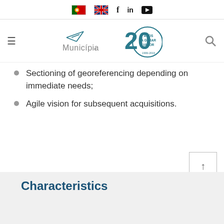Navigation bar with Portuguese flag, UK flag, Facebook, LinkedIn, YouTube icons
[Figure (logo): Municipia logo with arrow/boomerang icon and '20 Anos a Gerar Valor 1999-2019' anniversary badge]
Sectioning of georeferencing depending on immediate needs;
Agile vision for subsequent acquisitions.
Characteristics